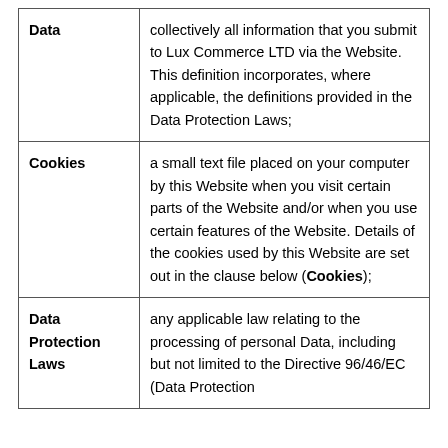| Term | Definition |
| --- | --- |
| Data | collectively all information that you submit to Lux Commerce LTD via the Website. This definition incorporates, where applicable, the definitions provided in the Data Protection Laws; |
| Cookies | a small text file placed on your computer by this Website when you visit certain parts of the Website and/or when you use certain features of the Website. Details of the cookies used by this Website are set out in the clause below (Cookies); |
| Data Protection Laws | any applicable law relating to the processing of personal Data, including but not limited to the Directive 96/46/EC (Data Protection |